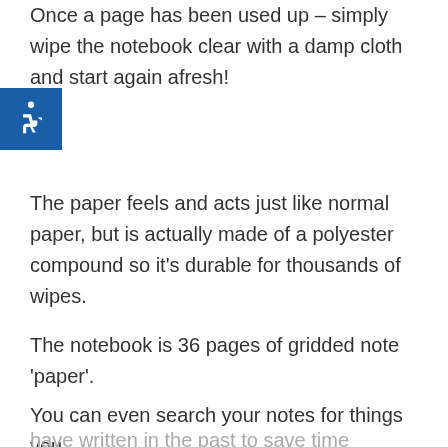Once a page has been used up – simply wipe the notebook clear with a damp cloth and start again afresh!
[Figure (logo): Blue accessibility wheelchair icon in a blue square, positioned at the left margin]
The paper feels and acts just like normal paper, but is actually made of a polyester compound so it's durable for thousands of wipes.
The notebook is 36 pages of gridded note 'paper'.
You can even search your notes for things you have written in the past to save time studying!